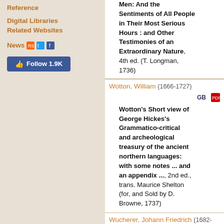Reference
Digital Libraries
Related Websites
News
Follow 1.9K
Men: And the Sentiments of All People in Their Most Serious Hours : and Other Testimonies of an Extraordinary Nature, 4th ed. (T. Longman, 1736)
Wotton, William (1666-1727)
GB
Wotton's Short view of George Hickes's Grammatico-critical and archeological treasury of the ancient northern languages: with some notes ... and an appendix ..., 2nd ed., trans. Maurice Shelton (for, and Sold by D. Browne, 1737)
Wucherer, Johann Friedrich (1682-1737)
[ Lu
SLUB
Commentatio In Ea Quae Sunt Prima In Scientiis Tradens Notiones Generales Theologiae Inservientes (Jenae, 1736)